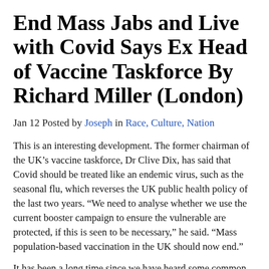End Mass Jabs and Live with Covid Says Ex Head of Vaccine Taskforce By Richard Miller (London)
Jan 12 Posted by Joseph in Race, Culture, Nation
This is an interesting development. The former chairman of the UK’s vaccine taskforce, Dr Clive Dix, has said that Covid should be treated like an endemic virus, such as the seasonal flu, which reverses the UK public health policy of the last two years. “We need to analyse whether we use the current booster campaign to ensure the vulnerable are protected, if this is seen to be necessary,” he said. “Mass population-based vaccination in the UK should now end.”
It has been a long time since we have heard some common sense from the mediocrats, but clearly their past and present Covid policies have failed.
https://www.theguardian.com/world/2022/jan/08/end-mass-jabs